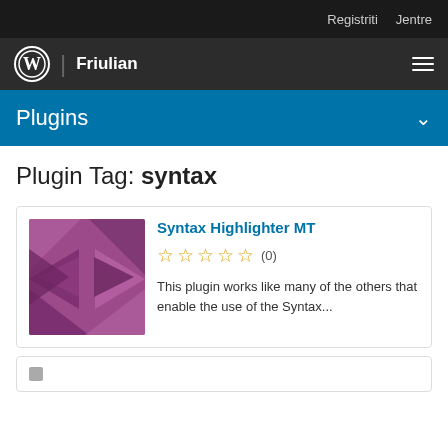Registriti  Jentre
Friulian
Plugins
Plugin Tag: syntax
[Figure (illustration): Purple geometric/abstract plugin thumbnail with triangular shapes]
Syntax Highlighter MT
(0) stars
This plugin works like many of the others that enable the use of the Syntax...